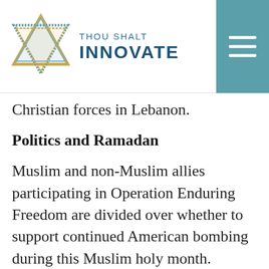THOU SHALT INNOVATE
Christian forces in Lebanon.
Politics and Ramadan
Muslim and non-Muslim allies participating in Operation Enduring Freedom are divided over whether to support continued American bombing during this Muslim holy month. Leaders from Indonesia, Egypt, Thailand, Saudi Arabia, Syria, and Malaysia have spoken out in opposition. Osama Baz, for example,